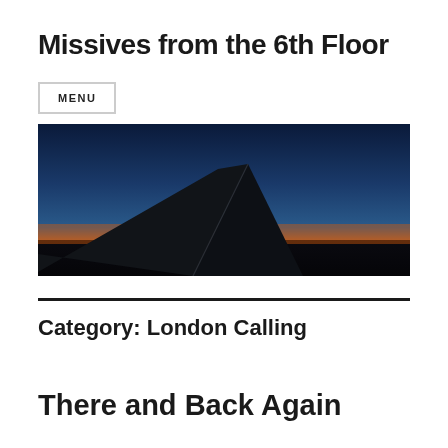Missives from the 6th Floor
MENU
[Figure (photo): Aerial view of airplane wing tip against a vivid sunset/sunrise sky with deep blue gradient at top and bright orange horizon glow at bottom, dark landscape silhouette below.]
Category: London Calling
There and Back Again